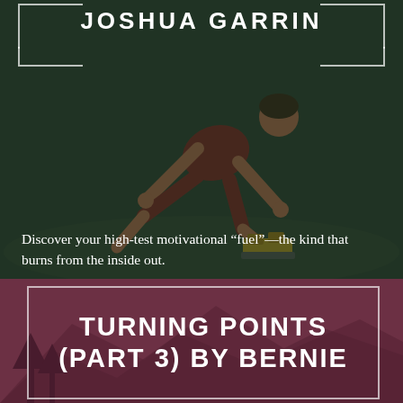JOSHUA GARRIN
[Figure (photo): Athlete in starting position on a track, wearing red athletic wear, with yellow starting blocks. Dark green tinted background overlay.]
Discover your high-test motivational “fuel”—the kind that burns from the inside out.
[Figure (photo): Mountain landscape with trees, dark mauve/purple tinted background overlay.]
TURNING POINTS (PART 3) BY BERNIE